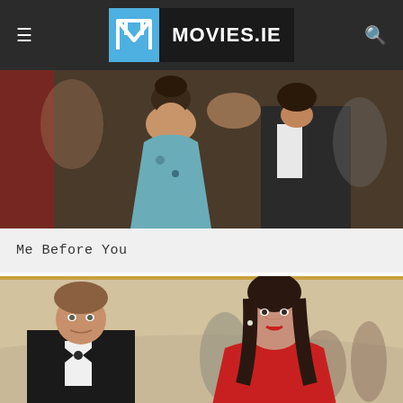MOVIES.IE
[Figure (photo): Movie still from Me Before You showing a woman in a blue-green dress and a man in a dark suit, close together as if about to kiss, at a formal event]
Me Before You
[Figure (photo): Movie still from Me Before You showing a young man in a tuxedo with bow tie and a young woman with dark hair and red lipstick in a red dress, standing in an ornate hall with other people in background]